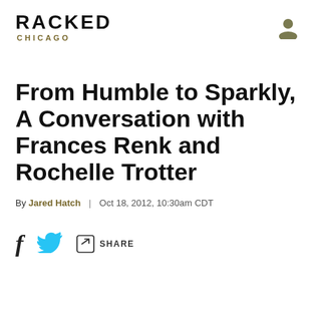RACKED CHICAGO
From Humble to Sparkly, A Conversation with Frances Renk and Rochelle Trotter
By Jared Hatch | Oct 18, 2012, 10:30am CDT
SHARE